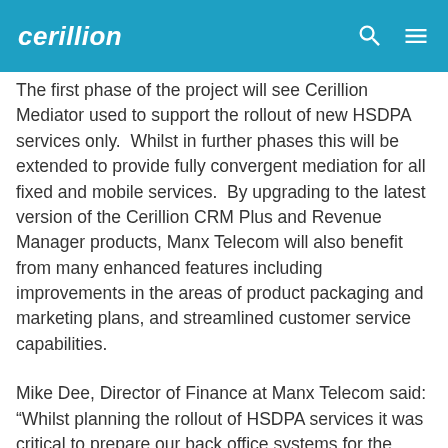cerillion
The first phase of the project will see Cerillion Mediator used to support the rollout of new HSDPA services only.  Whilst in further phases this will be extended to provide fully convergent mediation for all fixed and mobile services.  By upgrading to the latest version of the Cerillion CRM Plus and Revenue Manager products, Manx Telecom will also benefit from many enhanced features including improvements in the areas of product packaging and marketing plans, and streamlined customer service capabilities.
Mike Dee, Director of Finance at Manx Telecom said: “Whilst planning the rollout of HSDPA services it was critical to prepare our back office systems for the launch. We have been using the Cerillion billing software with